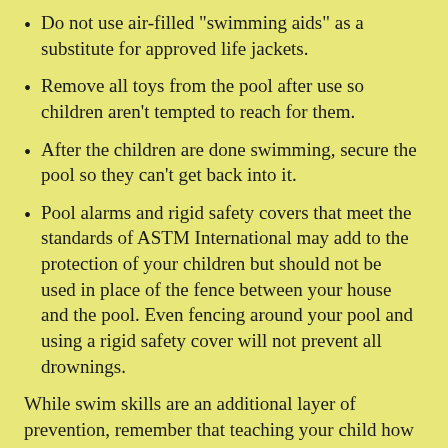Do not use air-filled "swimming aids" as a substitute for approved life jackets.
Remove all toys from the pool after use so children aren't tempted to reach for them.
After the children are done swimming, secure the pool so they can't get back into it.
Pool alarms and rigid safety covers that meet the standards of ASTM International may add to the protection of your children but should not be used in place of the fence between your house and the pool. Even fencing around your pool and using a rigid safety cover will not prevent all drownings.
While swim skills are an additional layer of prevention, remember that teaching your child how to swim DOES NOT mean your child is safe in water. Additional safety measures are necessary when